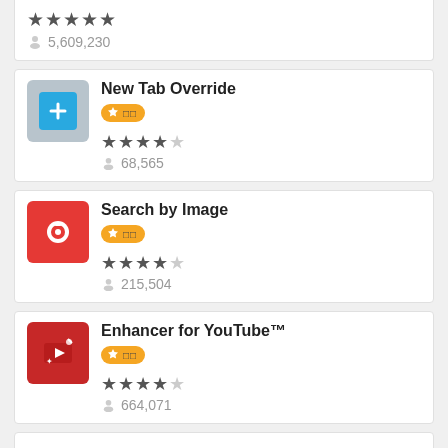5,609,230 (star rating row, top partial)
New Tab Override
68,565
Search by Image
215,504
Enhancer for YouTube™
664,071
□□
Google Container  ?